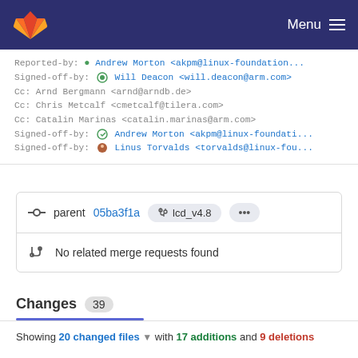GitLab — Menu
Reported-by: Andrew Morton <akpm@linux-foundation...>
Signed-off-by: Will Deacon <will.deacon@arm.com>
Cc: Arnd Bergmann <arnd@arndb.de>
Cc: Chris Metcalf <cmetcalf@tilera.com>
Cc: Catalin Marinas <catalin.marinas@arm.com>
Signed-off-by: Andrew Morton <akpm@linux-foundati...
Signed-off-by: Linus Torvalds <torvalds@linux-fou...
parent 05ba3f1a  lcd_v4.8  ···
No related merge requests found
Changes 39
Showing 20 changed files  with 17 additions and 9 deletions